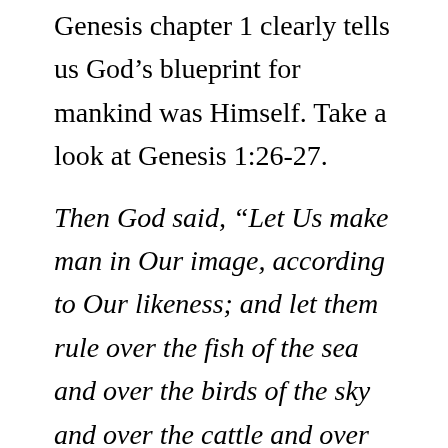Genesis chapter 1 clearly tells us God's blueprint for mankind was Himself. Take a look at Genesis 1:26-27.
Then God said, “Let Us make man in Our image, according to Our likeness; and let them rule over the fish of the sea and over the birds of the sky and over the cattle and over all the earth, and over every creeping thing that creeps on the earth.” God created man in His own image, in the image of God He created him; male and female He created